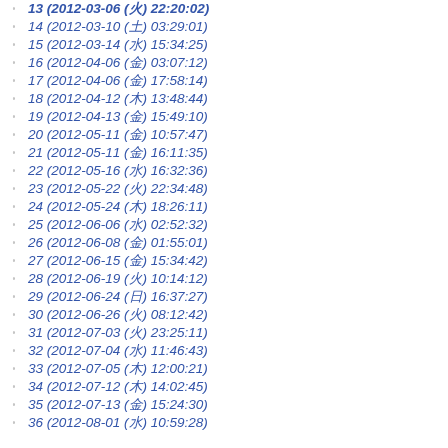12 (2012-03-01 (日) 22:00:02)
13 (2012-03-06 (火) 22:20:02)
14 (2012-03-10 (土) 03:29:01)
15 (2012-03-14 (水) 15:34:25)
16 (2012-04-06 (金) 03:07:12)
17 (2012-04-06 (金) 17:58:14)
18 (2012-04-12 (木) 13:48:44)
19 (2012-04-13 (金) 15:49:10)
20 (2012-05-11 (金) 10:57:47)
21 (2012-05-11 (金) 16:11:35)
22 (2012-05-16 (水) 16:32:36)
23 (2012-05-22 (火) 22:34:48)
24 (2012-05-24 (木) 18:26:11)
25 (2012-06-06 (水) 02:52:32)
26 (2012-06-08 (金) 01:55:01)
27 (2012-06-15 (金) 15:34:42)
28 (2012-06-19 (火) 10:14:12)
29 (2012-06-24 (日) 16:37:27)
30 (2012-06-26 (火) 08:12:42)
31 (2012-07-03 (火) 23:25:11)
32 (2012-07-04 (水) 11:46:43)
33 (2012-07-05 (木) 12:00:21)
34 (2012-07-12 (木) 14:02:45)
35 (2012-07-13 (金) 15:24:30)
36 (2012-08-01 (水) 10:59:28)